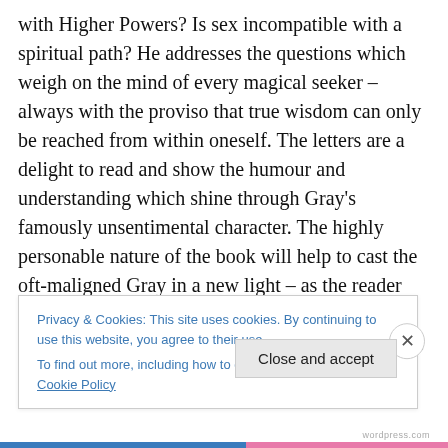with Higher Powers? Is sex incompatible with a spiritual path? He addresses the questions which weigh on the mind of every magical seeker – always with the proviso that true wisdom can only be reached from within oneself. The letters are a delight to read and show the humour and understanding which shine through Gray's famously unsentimental character. The highly personable nature of the book will help to cast the oft-maligned Gray in a new light – as the reader becomes very conscious of the growing warmth and care the old Magus develops for his pupil. The lessons contained within the letters be of direct
Privacy & Cookies: This site uses cookies. By continuing to use this website, you agree to their use.
To find out more, including how to control cookies, see here: Cookie Policy